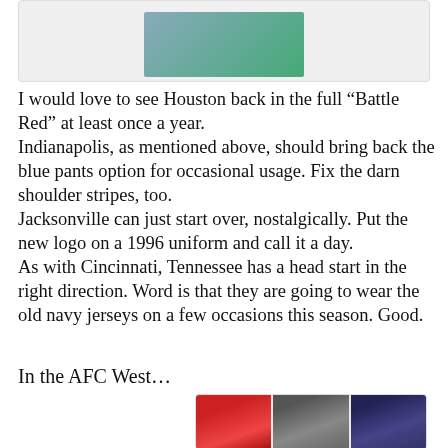[Figure (photo): Top partial image showing football player(s) in action, partially cropped at top of page]
I would love to see Houston back in the full “Battle Red” at least once a year.
Indianapolis, as mentioned above, should bring back the blue pants option for occasional usage. Fix the darn shoulder stripes, too.
Jacksonville can just start over, nostalgically. Put the new logo on a 1996 uniform and call it a day.
As with Cincinnati, Tennessee has a head start in the right direction. Word is that they are going to wear the old navy jerseys on a few occasions this season. Good.
In the AFC West…
[Figure (photo): Three football player photos side by side: player #6 in red Kansas City Chiefs uniform, two Raiders players in silver/black helmets, and a Broncos player in navy helmet]